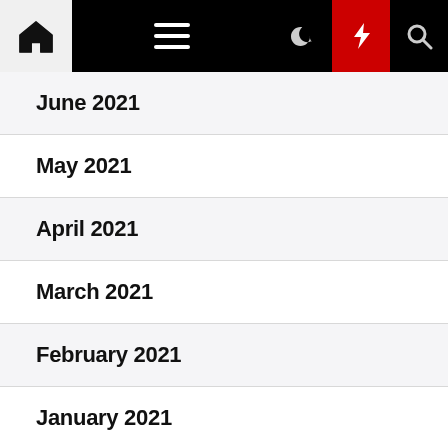Navigation bar with home, menu, moon, lightning, search icons
June 2021
May 2021
April 2021
March 2021
February 2021
January 2021
December 2020
October 2020
February 2020